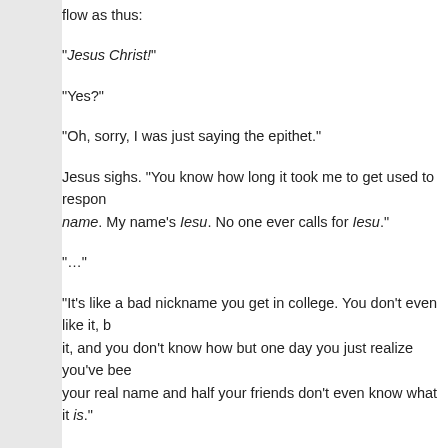flow as thus:
"Jesus Christ!"
"Yes?"
"Oh, sorry, I was just saying the epithet."
Jesus sighs. "You know how long it took me to get used to responding to that name. My name's Iesu. No one ever calls for Iesu."
"…"
"It's like a bad nickname you get in college. You don't even like it, but people keep calling it, and you don't know how but one day you just realize you've been answering to it more than your real name and half your friends don't even know what it is."
"Wow, Jesus, I'm sorry…. Do you- do you want me to call you Iesu?"
"…No; no, man, it's not that big a deal. I mean it's not like everybody's gonna stop calling me that. I just- y'know, don't say it as much, alright?"
"Yeah. Yeah, man, no problem."